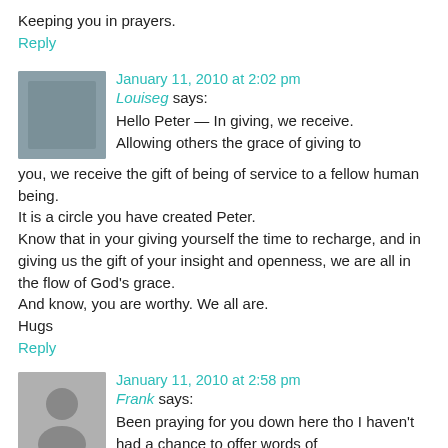Keeping you in prayers.
Reply
January 11, 2010 at 2:02 pm
Louiseg says:
Hello Peter — In giving, we receive. Allowing others the grace of giving to you, we receive the gift of being of service to a fellow human being.
It is a circle you have created Peter.
Know that in your giving yourself the time to recharge, and in giving us the gift of your insight and openness, we are all in the flow of God's grace.
And know, you are worthy. We all are.
Hugs
Reply
January 11, 2010 at 2:58 pm
Frank says:
Been praying for you down here tho I haven't had a chance to offer words of encouragement. Hang in there. We've all been there (and some